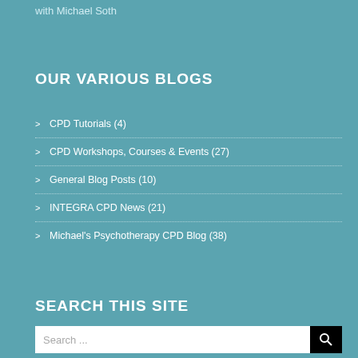with Michael Soth
OUR VARIOUS BLOGS
CPD Tutorials (4)
CPD Workshops, Courses & Events (27)
General Blog Posts (10)
INTEGRA CPD News (21)
Michael's Psychotherapy CPD Blog (38)
SEARCH THIS SITE
Search ...